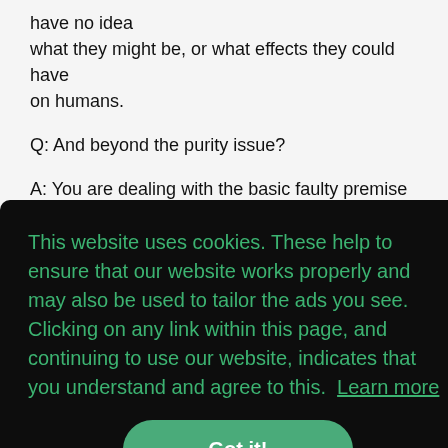have no idea what they might be, or what effects they could have on humans.
Q: And beyond the purity issue?
A: You are dealing with the basic faulty premise about
[Figure (screenshot): Cookie consent overlay on a dark background. Text in green reads: 'This website uses cookies. These help to ensure that our website works properly and may also be used to tailor the ads you see. Clicking on any link within this page, and continuing to use our website, indicates that you understand and agree to this. Learn more'. A teal 'Got it!' button is shown below.]
related